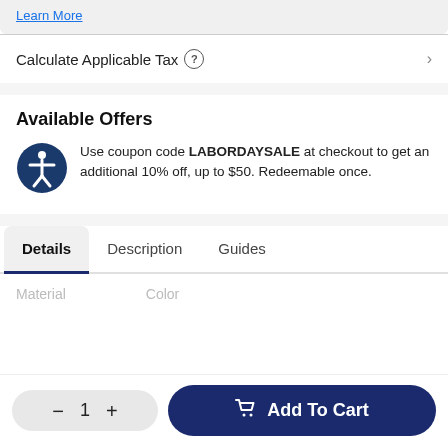Learn More
Calculate Applicable Tax ?
Available Offers
Use coupon code LABORDAYSALE at checkout to get an additional 10% off, up to $50. Redeemable once.
Details   Description   Guides
Material   Color
— 1 + Add To Cart